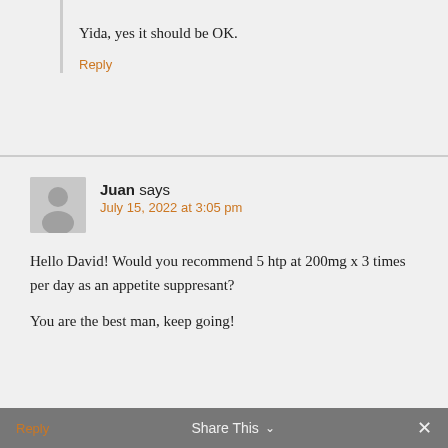Yida, yes it should be OK.
Reply
Juan says
July 15, 2022 at 3:05 pm
Hello David! Would you recommend 5 htp at 200mg x 3 times per day as an appetite suppresant?

You are the best man, keep going!
Reply
Share This ∨
✕